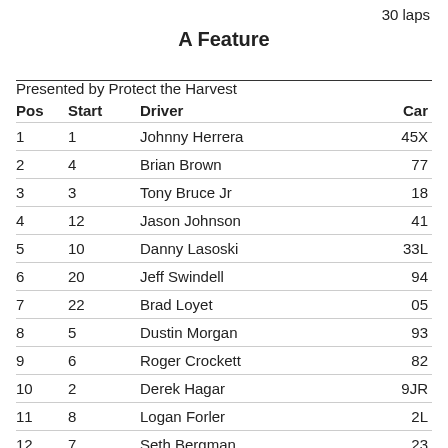30 laps
A Feature
Presented by Protect the Harvest
| Pos | Start | Driver | Car |
| --- | --- | --- | --- |
| 1 | 1 | Johnny Herrera | 45X |
| 2 | 4 | Brian Brown | 77 |
| 3 | 3 | Tony Bruce Jr | 18 |
| 4 | 12 | Jason Johnson | 41 |
| 5 | 10 | Danny Lasoski | 33L |
| 6 | 20 | Jeff Swindell | 94 |
| 7 | 22 | Brad Loyet | 05 |
| 8 | 5 | Dustin Morgan | 93 |
| 9 | 6 | Roger Crockett | 82 |
| 10 | 2 | Derek Hagar | 9JR |
| 11 | 8 | Logan Forler | 2L |
| 12 | 7 | Seth Bergman | 23 |
| 13 | 13 | Kyle Bellm | 48 |
| 14 | 11 | Evan Martin… | 4 |